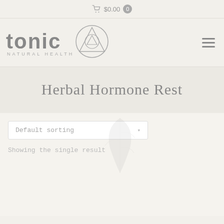$0.00  0
[Figure (logo): Tonic Natural Health logo with stylized text and geometric triangle/circle symbol]
Herbal Hormone Rest
Default sorting
Showing the single result